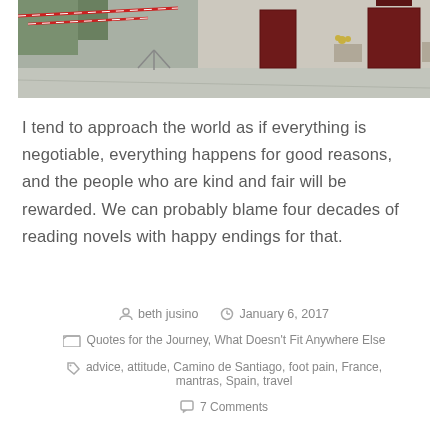[Figure (photo): Outdoor scene of a European stone building with dark red/maroon doors, potted plants, and a graveled courtyard. Red and white barrier tape is visible on the left side.]
I tend to approach the world as if everything is negotiable, everything happens for good reasons, and the people who are kind and fair will be rewarded. We can probably blame four decades of reading novels with happy endings for that.
beth jusino   January 6, 2017
Quotes for the Journey, What Doesn't Fit Anywhere Else
advice, attitude, Camino de Santiago, foot pain, France, mantras, Spain, travel
7 Comments